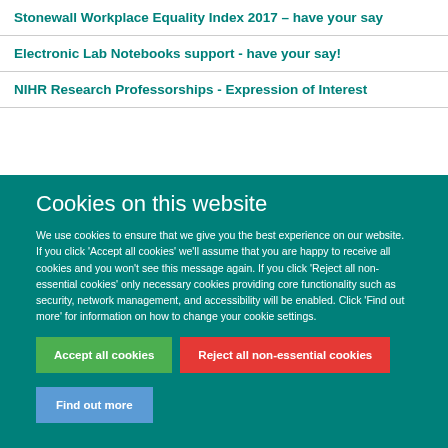Stonewall Workplace Equality Index 2017 – have your say
Electronic Lab Notebooks support - have your say!
NIHR Research Professorships - Expression of Interest
Cookies on this website
We use cookies to ensure that we give you the best experience on our website. If you click 'Accept all cookies' we'll assume that you are happy to receive all cookies and you won't see this message again. If you click 'Reject all non-essential cookies' only necessary cookies providing core functionality such as security, network management, and accessibility will be enabled. Click 'Find out more' for information on how to change your cookie settings.
Accept all cookies
Reject all non-essential cookies
Find out more